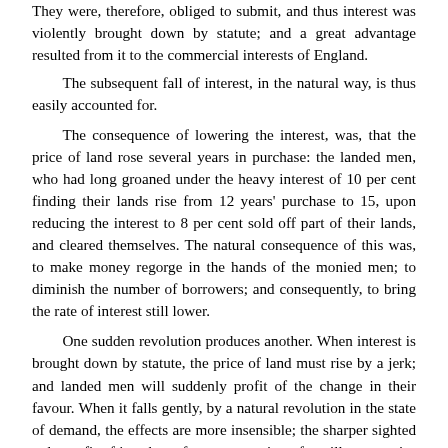They were, therefore, obliged to submit, and thus interest was violently brought down by statute; and a great advantage resulted from it to the commercial interests of England.
The subsequent fall of interest, in the natural way, is thus easily accounted for.
The consequence of lowering the interest, was, that the price of land rose several years in purchase: the landed men, who had long groaned under the heavy interest of 10 per cent finding their lands rise from 12 years' purchase to 15, upon reducing the interest to 8 per cent sold off part of their lands, and cleared themselves. The natural consequence of this was, to make money regorge in the hands of the monied men; to diminish the number of borrowers; and consequently, to bring the rate of interest still lower.
One sudden revolution produces another. When interest is brought down by statute, the price of land must rise by a jerk; and landed men will suddenly profit of the change in their favour. When it falls gently, by a natural revolution in the state of demand, the effects are more insensible; the sharper sighted only profit of it; others, from expectation of a still greater rise in the price of their lands, neglect to sell in the proper point of time; and may perhaps be disappointed from a new fluctuation in favour of